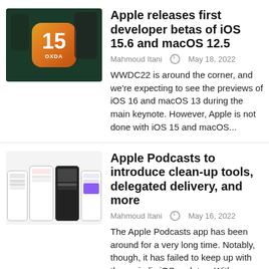[Figure (photo): Thumbnail image showing iOS 15 badge on dark green background with phone silhouettes, XDA branding]
Apple releases first developer betas of iOS 15.6 and macOS 12.5
Mahmoud Itani  May 18, 2022
WWDC22 is around the corner, and we're expecting to see the previews of iOS 16 and macOS 13 during the main keynote. However, Apple is not done with iOS 15 and macOS...
[Figure (photo): Thumbnail image showing four smartphone mockups with Apple Podcasts app screens]
Apple Podcasts to introduce clean-up tools, delegated delivery, and more
Mahmoud Itani  May 16, 2022
The Apple Podcasts app has been around for a very long time. Notably, though, it has failed to keep up with the periodic iOS updates. With